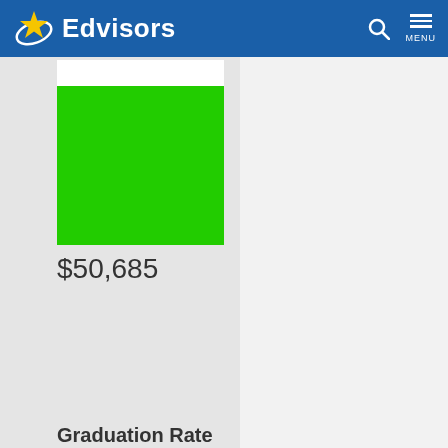Edvisors
[Figure (bar-chart): Cost bar]
$50,685
Graduation Rate